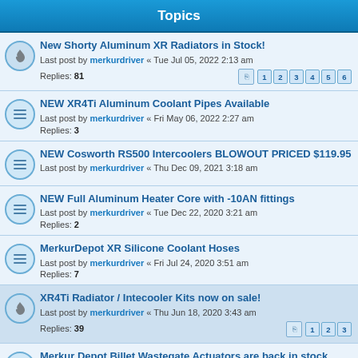Topics
New Shorty Aluminum XR Radiators in Stock! Last post by merkurdriver « Tue Jul 05, 2022 2:13 am Replies: 81
NEW XR4Ti Aluminum Coolant Pipes Available Last post by merkurdriver « Fri May 06, 2022 2:27 am Replies: 3
NEW Cosworth RS500 Intercoolers BLOWOUT PRICED $119.95 Last post by merkurdriver « Thu Dec 09, 2021 3:18 am
NEW Full Aluminum Heater Core with -10AN fittings Last post by merkurdriver « Tue Dec 22, 2020 3:21 am Replies: 2
MerkurDepot XR Silicone Coolant Hoses Last post by merkurdriver « Fri Jul 24, 2020 3:51 am Replies: 7
XR4Ti Radiator / Intecooler Kits now on sale! Last post by merkurdriver « Thu Jun 18, 2020 3:43 am Replies: 39
Merkur Depot Billet Wastegate Actuators are back in stock Last post by merkurdriver « Thu Nov 28, 2019 4:11 am
NEW MERKUR DEPOT 3" STAINLESS EXHAUST & DOWNPIPES Last post by merkurdriver « Mon Nov 04, 2019 3:44 am